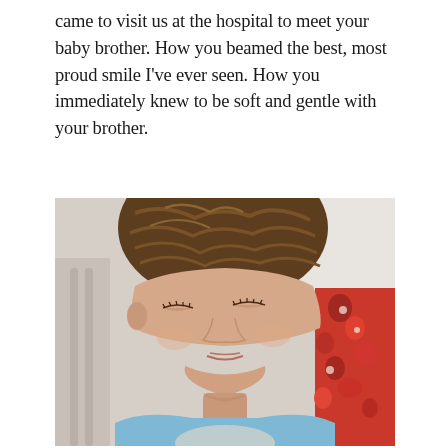came to visit us at the hospital to meet your baby brother. How you beamed the best, most proud smile I've ever seen. How you immediately knew to be soft and gentle with your brother.
[Figure (photo): Close-up photograph of a young child with wavy brown hair, wearing a light blue shirt, looking downward gently, presumably holding or looking at a newborn baby. A floral red and white fabric is visible in the background on the right side.]